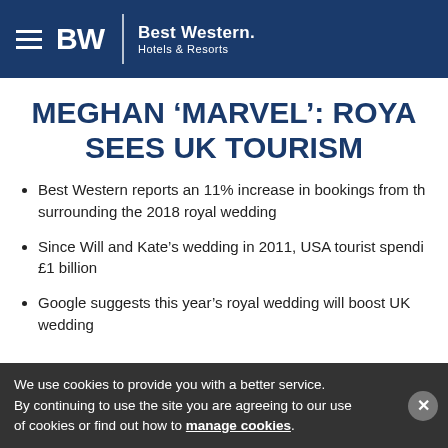Best Western Hotels & Resorts
MEGHAN ‘MARVEL’: ROYAL WEDDING SEES UK TOURISM
Best Western reports an 11% increase in bookings from the period surrounding the 2018 royal wedding
Since Will and Kate’s wedding in 2011, USA tourist spending has surpassed £1 billion
Google suggests this year’s royal wedding will boost UK tourism more than any previous royal wedding
We use cookies to provide you with a better service. By continuing to use the site you are agreeing to our use of cookies or find out how to manage cookies.